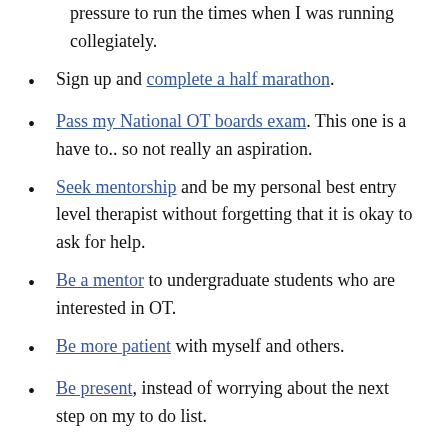pressure to run the times when I was running collegiately.
Sign up and complete a half marathon.
Pass my National OT boards exam. This one is a have to.. so not really an aspiration.
Seek mentorship and be my personal best entry level therapist without forgetting that it is okay to ask for help.
Be a mentor to undergraduate students who are interested in OT.
Be more patient with myself and others.
Be present, instead of worrying about the next step on my to do list.